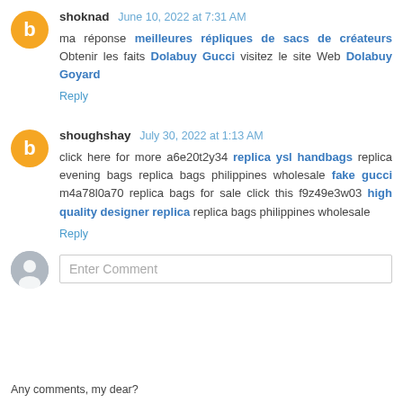shoknad June 10, 2022 at 7:31 AM
ma réponse meilleures répliques de sacs de créateurs Obtenir les faits Dolabuy Gucci visitez le site Web Dolabuy Goyard
Reply
shoughshay July 30, 2022 at 1:13 AM
click here for more a6e20t2y34 replica ysl handbags replica evening bags replica bags philippines wholesale fake gucci m4a78l0a70 replica bags for sale click this f9z49e3w03 high quality designer replica replica bags philippines wholesale
Reply
Enter Comment
Any comments, my dear?